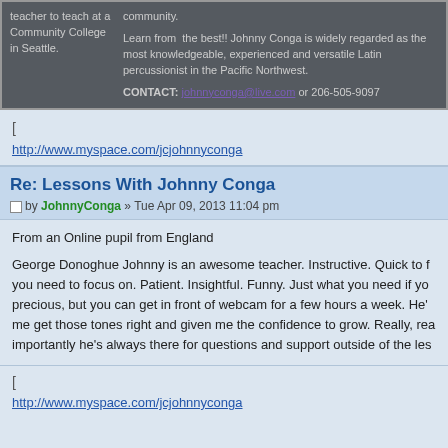teacher to teach at a Community College in Seattle. / Learn from the best!! Johnny Conga is widely regarded as the most knowledgeable, experienced and versatile Latin percussionist in the Pacific Northwest. CONTACT: johnnyconga@live.com or 206-505-9097
[
http://www.myspace.com/jcjohnnyconga
Re: Lessons With Johnny Conga
by JohnnyConga » Tue Apr 09, 2013 11:04 pm
From an Online pupil from England
George Donoghue Johnny is an awesome teacher. Instructive. Quick to f... you need to focus on. Patient. Insightful. Funny. Just what you need if yo... precious, but you can get in front of webcam for a few hours a week. He's... me get those tones right and given me the confidence to grow. Really, rea... importantly he's always there for questions and support outside of the les...
[
http://www.myspace.com/jcjohnnyconga